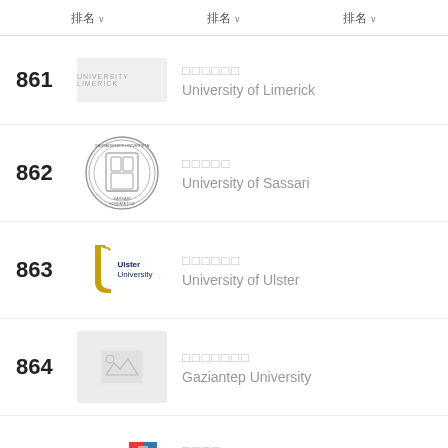排名  排名  排名
861 □□□□□□ University of Limerick
862 □□□□□ University of Sassari
863 □□□□□□ University of Ulster
864 □□□□□□□ Gaziantep University
865 □□□□ Keele University